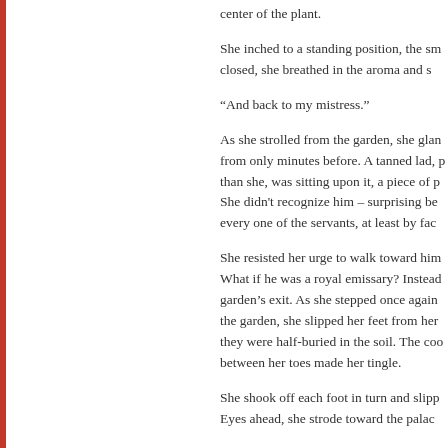center of the plant.
She inched to a standing position, the sn closed, she breathed in the aroma and s
“And back to my mistress.”
As she strolled from the garden, she gla from only minutes before. A tanned lad, p than she, was sitting upon it, a piece of p She didn't recognize him – surprising be every one of the servants, at least by fac
She resisted her urge to walk toward him What if he was a royal emissary? Instea garden's exit. As she stepped once again the garden, she slipped her feet from he they were half-buried in the soil. The co between her toes made her tingle.
She shook off each foot in turn and slipp Eyes ahead, she strode toward the pala
* * *